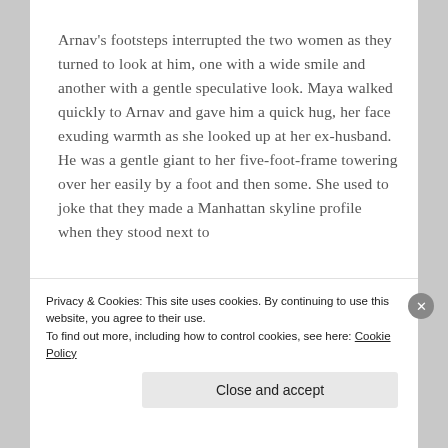Arnav's footsteps interrupted the two women as they turned to look at him, one with a wide smile and another with a gentle speculative look. Maya walked quickly to Arnav and gave him a quick hug, her face exuding warmth as she looked up at her ex-husband. He was a gentle giant to her five-foot-frame towering over her easily by a foot and then some. She used to joke that they made a Manhattan skyline profile when they stood next to
Privacy & Cookies: This site uses cookies. By continuing to use this website, you agree to their use.
To find out more, including how to control cookies, see here: Cookie Policy
Close and accept